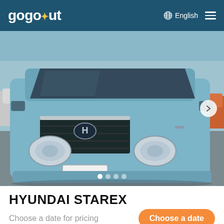gogoout  English
[Figure (photo): Front view of a light blue Hyundai Starex van parked in a lot, with other vehicles visible in the background.]
HYUNDAI STAREX
Choose a date for pricing
Choose a date